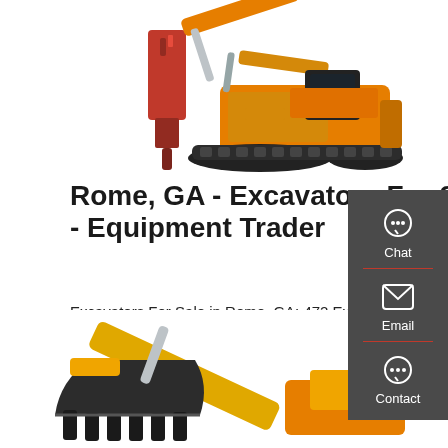[Figure (photo): Yellow excavator with red hydraulic breaker attachment on white background]
Rome, GA - Excavators For Sale - Equipment Trader
Excavators For Sale in Rome, GA: 472 Excavators Near You - Find Excavators on Equipment Trader.
[Figure (infographic): Sidebar with Chat, Email, and Contact icons on dark gray background]
Get a quote
[Figure (photo): Black excavator bucket/attachment on white background, partially visible]